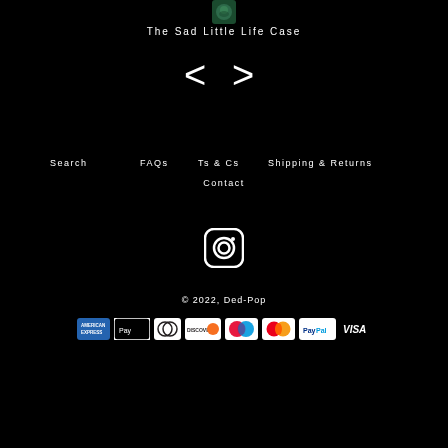[Figure (photo): Small product thumbnail image of The Sad Little Life Case on dark green background]
The Sad Little Life Case
[Figure (other): Navigation arrows left < and right > for carousel]
Search
FAQs
Ts & Cs
Shipping & Returns
Contact
[Figure (logo): Instagram icon - white square with rounded corners containing circle and dot]
© 2022, Ded-Pop
[Figure (other): Payment method icons: American Express, Apple Pay, Diners Club, Discover, Maestro, Mastercard, PayPal, VISA]